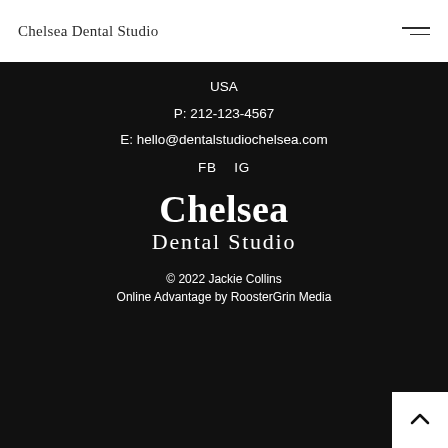Chelsea Dental Studio
USA
P: 212-123-4567
E: hello@dentalstudiochelsea.com
FB  IG
[Figure (logo): Chelsea Dental Studio logo in white serif font on dark background]
© 2022 Jackie Collins
Online Advantage by RoosterGrin Media